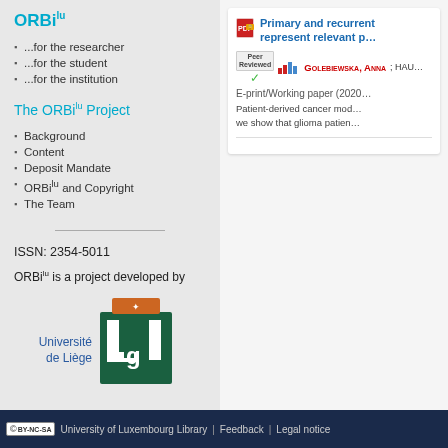ORBilu
...for the researcher
...for the student
...for the institution
The ORBilu Project
Background
Content
Deposit Mandate
ORBilu and Copyright
The Team
ISSN: 2354-5011
ORBilu is a project developed by
[Figure (logo): Université de Liège ULg logo]
Primary and recurrent... represent relevant p...
GOLEBIEWSKA, ANNA ; HAU...
E-print/Working paper (2020...
Patient-derived cancer mod... we show that glioma patien...
University of Luxembourg Library | Feedback | Legal notice